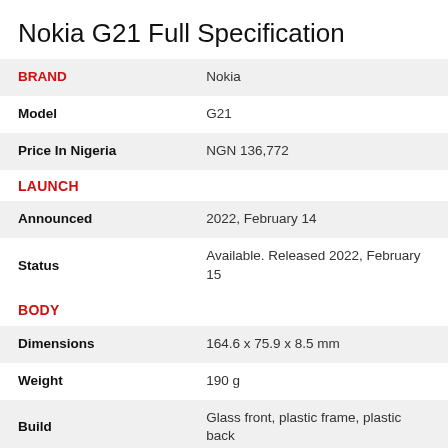Nokia G21 Full Specification
| Attribute | Value |
| --- | --- |
| BRAND | Nokia |
| Model | G21 |
| Price In Nigeria | NGN 136,772 |
| LAUNCH |  |
| Announced | 2022, February 14 |
| Status | Available. Released 2022, February 15 |
| BODY |  |
| Dimensions | 164.6 x 75.9 x 8.5 mm |
| Weight | 190 g |
| Build | Glass front, plastic frame, plastic back |
| Colors | Nordic Blue, Dusk |